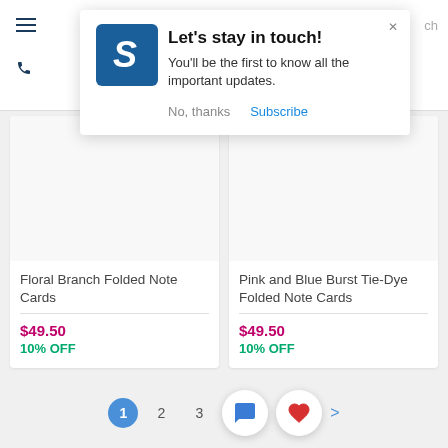[Figure (screenshot): Popup modal with logo, title 'Let's stay in touch!', body text, and action buttons 'No, thanks' and 'Subscribe']
Let's stay in touch!
You'll be the first to know all the important updates.
No, thanks
Subscribe
Floral Branch Folded Note Cards
$49.50
10% OFF
Pink and Blue Burst Tie-Dye Folded Note Cards
$49.50
10% OFF
1 2 3 >